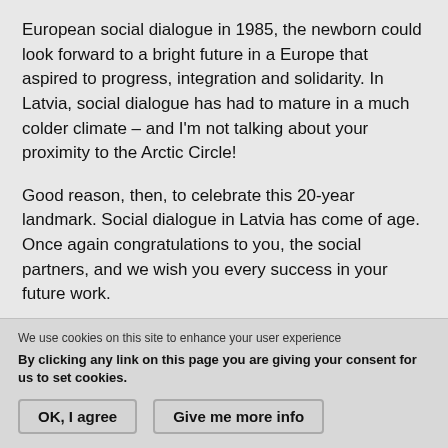European social dialogue in 1985, the newborn could look forward to a bright future in a Europe that aspired to progress, integration and solidarity. In Latvia, social dialogue has had to mature in a much colder climate – and I'm not talking about your proximity to the Arctic Circle!
Good reason, then, to celebrate this 20-year landmark. Social dialogue in Latvia has come of age. Once again congratulations to you, the social partners, and we wish you every success in your future work.
We use cookies on this site to enhance your user experience
By clicking any link on this page you are giving your consent for us to set cookies.
OK, I agree
Give me more info